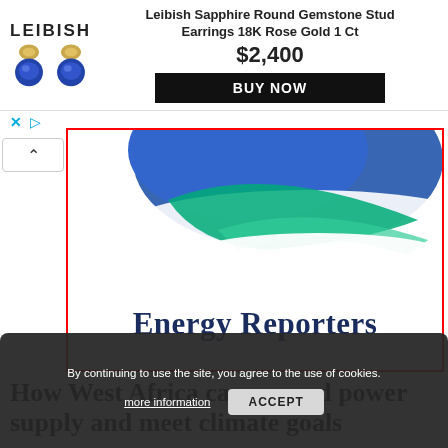[Figure (screenshot): Leibish jewelry advertisement banner showing sapphire round gemstone stud earrings in 18K Rose Gold, product name, price $2,400, and BUY NOW button]
[Figure (logo): Energy Reporters logo with blue and green swoosh/globe graphic above bold serif text reading 'Energy Reporters', surrounded by a red border]
By continuing to use the site, you agree to the use of cookies.
more information
ACCEPT
How West Africa can expand power supply and meet climate goals